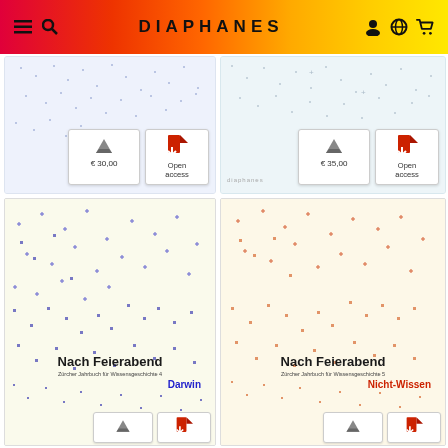DIAPHANES
[Figure (screenshot): Book card top-left with blue dot pattern, showing price button €30,00 and Open access PDF button]
[Figure (screenshot): Book card top-right with light blue dot pattern, showing price button €35,00 and Open access PDF button]
[Figure (illustration): Book cover: Nach Feierabend, Zürcher Jahrbuch für Wissensgeschichte 4, Darwin - cream background with blue scattered dots/crosses pattern]
[Figure (illustration): Book cover: Nach Feierabend, Zürcher Jahrbuch für Wissensgeschichte 5, Nicht-Wissen - cream background with red/orange scattered dots/crosses pattern]